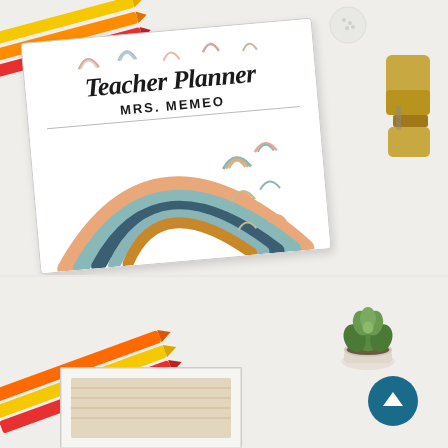[Figure (photo): Top photo: A white desk scene showing a Teacher Planner binder with rainbow design, personalized for MRS. MEMEO. Colorful pencils (yellow, orange, red) in top-left, a gold stapler at top-right. The binder cover features a large boho rainbow illustration in muted tones (peach, teal, navy, mustard) and scattered small rainbow icons.]
[Figure (photo): Bottom photo: Partial desk scene showing colorful pencils (orange, yellow, red) at bottom-left, a small white succulent plant pot at top-right, a white binder partially visible at center-bottom, and a circular dark teal scroll-up arrow button.]